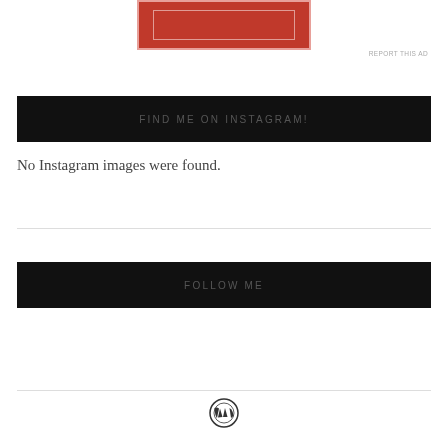[Figure (other): Red advertisement banner with inner rectangle border, partially visible at top of page]
REPORT THIS AD
FIND ME ON INSTAGRAM!
No Instagram images were found.
FOLLOW ME
[Figure (logo): WordPress circular logo icon]